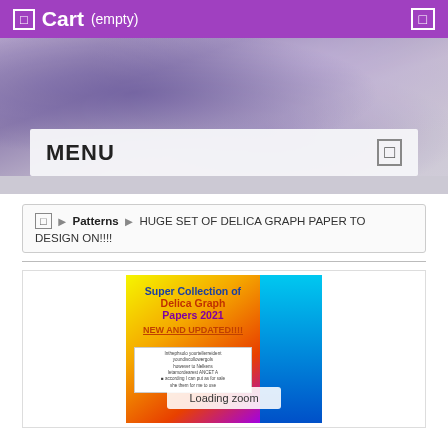Cart (empty)
MENU
Patterns > HUGE SET OF DELICA GRAPH PAPER TO DESIGN ON!!!!
[Figure (illustration): Product cover image for 'Super Collection of Delica Graph Papers 2021 NEW AND UPDATED!!!!' with rainbow gradient background and a loading zoom overlay]
Loading zoom